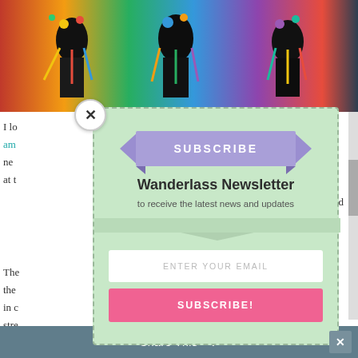[Figure (photo): People in colorful traditional carnival costumes with bright reds, yellows, greens, and blues]
I lo
am
ne
at t
The
the
in c
stre
and
Con
atih
[Figure (screenshot): Subscribe modal overlay for Wanderlass Newsletter with email input and subscribe button]
SUBSCRIBE
Wanderlass Newsletter
to receive the latest news and updates
ENTER YOUR EMAIL
SUBSCRIBE!
Share This